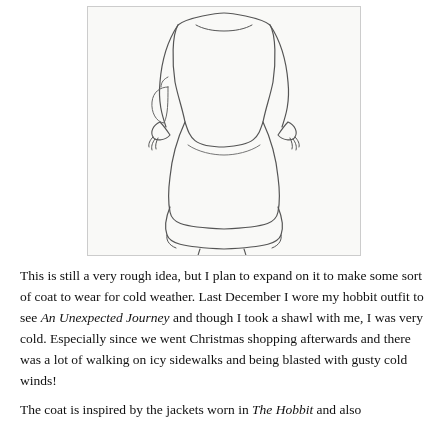[Figure (illustration): A pencil sketch of a female figure in a long layered dress or coat with cuffed sleeves, viewed from the front. The figure has no facial detail. The outfit features a long skirt with a tiered or layered hem, and the sleeves have distinct wide cuffs. The drawing is rough and sketchy in style.]
This is still a very rough idea, but I plan to expand on it to make some sort of coat to wear for cold weather. Last December I wore my hobbit outfit to see An Unexpected Journey and though I took a shawl with me, I was very cold. Especially since we went Christmas shopping afterwards and there was a lot of walking on icy sidewalks and being blasted with gusty cold winds!
The coat is inspired by the jackets worn in The Hobbit and also